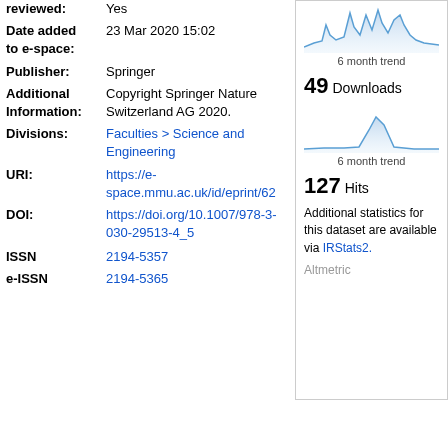reviewed: Yes
Date added to e-space: 23 Mar 2020 15:02
Publisher: Springer
Additional Information: Copyright Springer Nature Switzerland AG 2020.
Divisions: Faculties > Science and Engineering
URI: https://e-space.mmu.ac.uk/id/eprint/62
DOI: https://doi.org/10.1007/978-3-030-29513-4_5
ISSN 2194-5357
e-ISSN 2194-5365
[Figure (continuous-plot): 6 month trend line chart for downloads, showing spiky peaks across the period]
6 month trend
49 Downloads
[Figure (continuous-plot): 6 month trend line chart for hits, showing a single peak in the middle]
6 month trend
127 Hits
Additional statistics for this dataset are available via IRStats2.
Altmetric